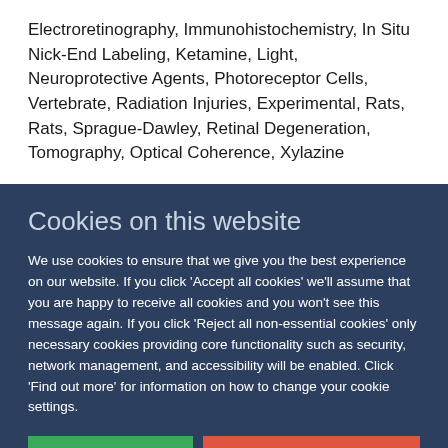Electroretinography, Immunohistochemistry, In Situ Nick-End Labeling, Ketamine, Light, Neuroprotective Agents, Photoreceptor Cells, Vertebrate, Radiation Injuries, Experimental, Rats, Rats, Sprague-Dawley, Retinal Degeneration, Tomography, Optical Coherence, Xylazine
Cookies on this website
We use cookies to ensure that we give you the best experience on our website. If you click 'Accept all cookies' we'll assume that you are happy to receive all cookies and you won't see this message again. If you click 'Reject all non-essential cookies' only necessary cookies providing core functionality such as security, network management, and accessibility will be enabled. Click 'Find out more' for information on how to change your cookie settings.
Accept all cookies
Reject all non-essential cookies